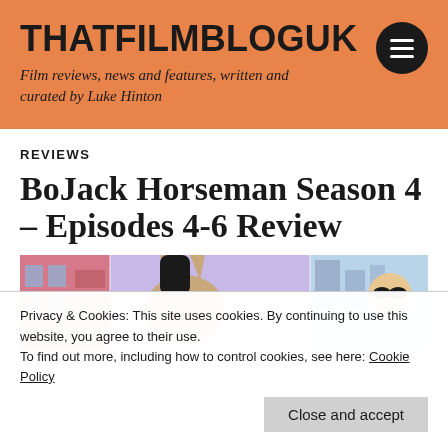THATFILMBLOGUK
Film reviews, news and features, written and curated by Luke Hinton
REVIEWS
BoJack Horseman Season 4 – Episodes 4-6 Review
[Figure (illustration): Animated still from BoJack Horseman showing cartoon characters including a horse character against a purple/violet background with a city scene]
Privacy & Cookies: This site uses cookies. By continuing to use this website, you agree to their use.
To find out more, including how to control cookies, see here: Cookie Policy
Close and accept